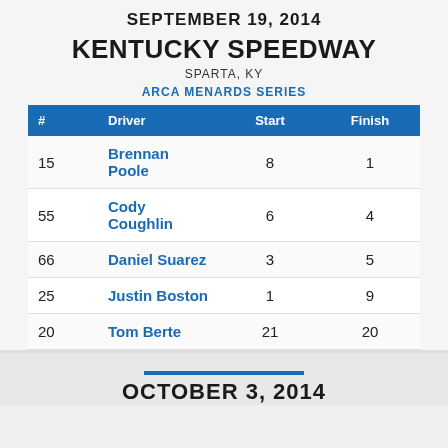SEPTEMBER 19, 2014
KENTUCKY SPEEDWAY
SPARTA, KY
ARCA MENARDS SERIES
| # | Driver | Start | Finish |
| --- | --- | --- | --- |
| 15 | Brennan Poole | 8 | 1 |
| 55 | Cody Coughlin | 6 | 4 |
| 66 | Daniel Suarez | 3 | 5 |
| 25 | Justin Boston | 1 | 9 |
| 20 | Tom Berte | 21 | 20 |
OCTOBER 3, 2014